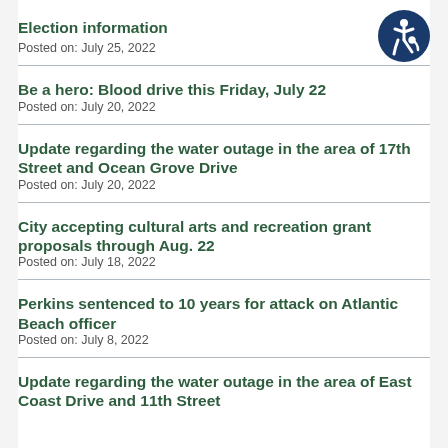Election information
Posted on: July 25, 2022
Be a hero: Blood drive this Friday, July 22
Posted on: July 20, 2022
Update regarding the water outage in the area of 17th Street and Ocean Grove Drive
Posted on: July 20, 2022
City accepting cultural arts and recreation grant proposals through Aug. 22
Posted on: July 18, 2022
Perkins sentenced to 10 years for attack on Atlantic Beach officer
Posted on: July 8, 2022
Update regarding the water outage in the area of East Coast Drive and 11th Street